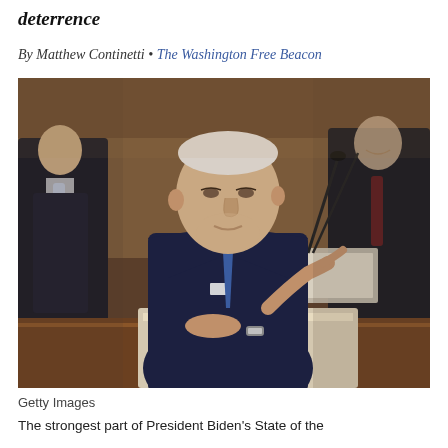deterrence
By Matthew Continetti • The Washington Free Beacon
[Figure (photo): President Biden at a podium/lectern, pointing with his finger, wearing a navy suit and blue tie. He appears to be speaking at the State of the Union address. Two men are visible in the background, slightly blurred.]
Getty Images
The strongest part of President Biden's State of the